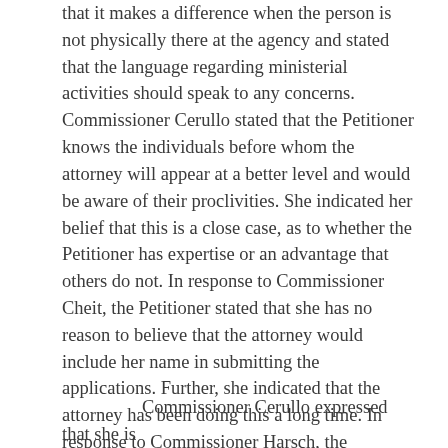that it makes a difference when the person is not physically there at the agency and stated that the language regarding ministerial activities should speak to any concerns.  Commissioner Cerullo stated that the Petitioner knows the individuals before whom the attorney will appear at a better level and would be aware of their proclivities.  She indicated her belief that this is a close case, as to whether the Petitioner has expertise or an advantage that others do not.  In response to Commissioner Cheit, the Petitioner stated that she has no reason to believe that the attorney would include her name in submitting the applications.  Further, she indicated that the attorney has been doing this a long time.  In response to Commissioner Harsch, the Petitioner stated that the attorney never appeared before her in her state employ.  In response to Commissioner Harsch, Staff Attorney Leyden indicated that the one year prohibition would apply until September 2009.
Commissioner Cerullo expressed that she is